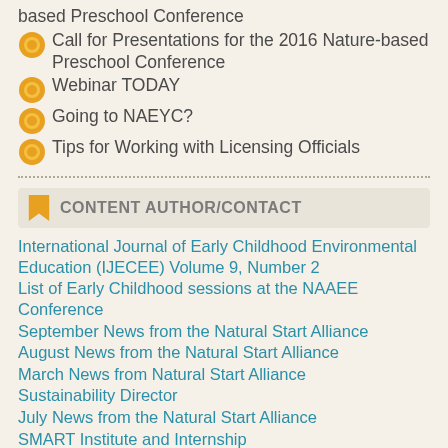based Preschool Conference
Call for Presentations for the 2016 Nature-based Preschool Conference
Webinar TODAY
Going to NAEYC?
Tips for Working with Licensing Officials
CONTENT AUTHOR/CONTACT
International Journal of Early Childhood Environmental Education (IJECEE) Volume 9, Number 2
List of Early Childhood sessions at the NAAEE Conference
September News from the Natural Start Alliance
August News from the Natural Start Alliance
March News from Natural Start Alliance
Sustainability Director
July News from the Natural Start Alliance
SMART Institute and Internship